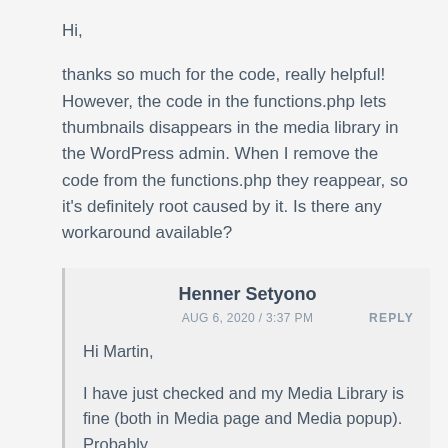Hi,
thanks so much for the code, really helpful! However, the code in the functions.php lets thumbnails disappears in the media library in the WordPress admin. When I remove the code from the functions.php they reappear, so it's definitely root caused by it. Is there any workaround available?
Thanks upfront! Martin
Henner Setyono
AUG 6, 2020 / 3:37 PM
REPLY
Hi Martin,
I have just checked and my Media Library is fine (both in Media page and Media popup). Probably